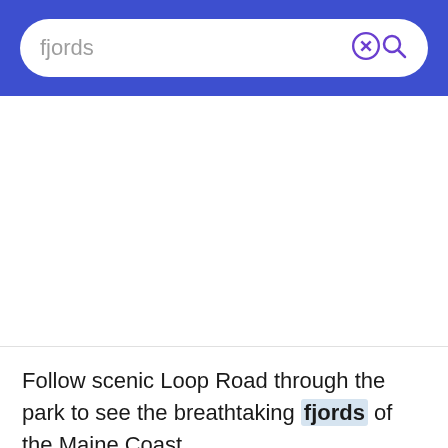fjords
Follow scenic Loop Road through the park to see the breathtaking fjords of the Maine Coast.
1  0  ⋮
The magnificent Chilean fjords are practically